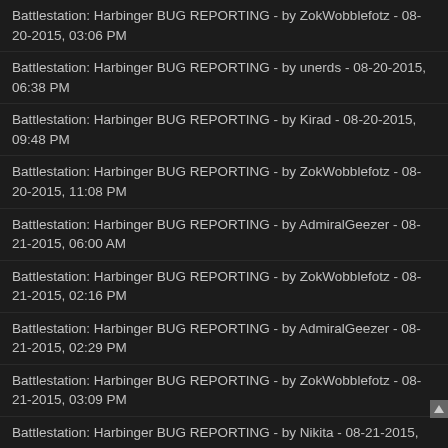Battlestation: Harbinger BUG REPORTING - by ZokWobblefotz - 08-20-2015, 03:06 PM
Battlestation: Harbinger BUG REPORTING - by unerds - 08-20-2015, 06:38 PM
Battlestation: Harbinger BUG REPORTING - by Kirad - 08-20-2015, 09:48 PM
Battlestation: Harbinger BUG REPORTING - by ZokWobblefotz - 08-20-2015, 11:08 PM
Battlestation: Harbinger BUG REPORTING - by AdmiralGeezer - 08-21-2015, 06:00 AM
Battlestation: Harbinger BUG REPORTING - by ZokWobblefotz - 08-21-2015, 02:16 PM
Battlestation: Harbinger BUG REPORTING - by AdmiralGeezer - 08-21-2015, 02:29 PM
Battlestation: Harbinger BUG REPORTING - by ZokWobblefotz - 08-21-2015, 03:09 PM
Battlestation: Harbinger BUG REPORTING - by Nikita - 08-21-2015, 07:15 PM
Battlestation: Harbinger BUG REPORTING - by ZokWobblefotz - 08-21-2015, 07:41 PM
Battlestation: Harbinger BUG REPORTING - by unerds - 08-22-2015, 05:12 PM
Battlestation: Harbinger BUG REPORTING - by unerds - 08-22-2015, 05:58 PM
Battlestation: Harbinger BUG REPORTING - by Nikita - 08-23-2015